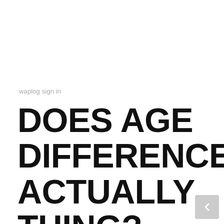waplog sign in
DOES AGE DIFFERENCE ACTUALLY THING?MANY PARTNERS HAVE